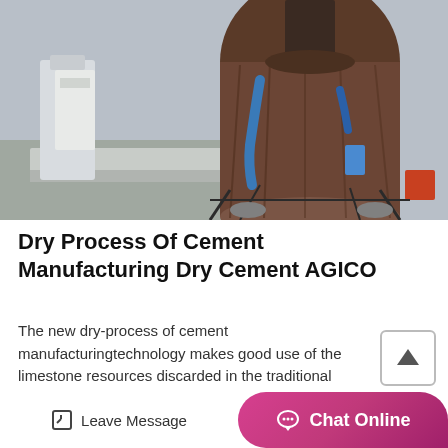[Figure (photo): Industrial cement plant rotary kiln equipment — large cylindrical metal kiln with rust and blue piping, industrial towers and scaffolding, outdoor factory setting with grey sky]
Dry Process Of Cement Manufacturing Dry Cement AGICO
The new dry-process of cement manufacturingtechnology makes good use of the limestone resources discarded in the traditional mining method and applies the pre…
MORE DETAILS
Leave Message  Chat Online